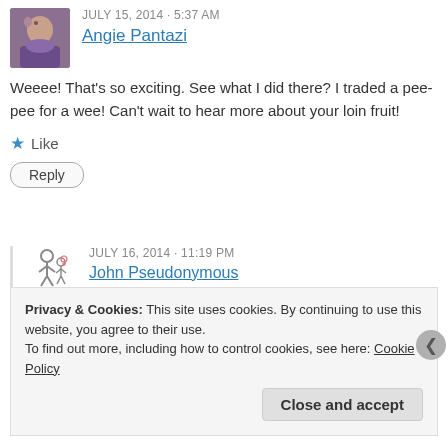JULY 15, 2014 - 5:37 AM
Angie Pantazi
Weeee! That's so exciting. See what I did there? I traded a pee-pee for a wee! Can't wait to hear more about your loin fruit!
★ Like
Reply
JULY 16, 2014 - 11:19 PM
John Pseudonymous
I'll take a wee over a pee any day. Although it seems I'm going to have even more pee in my life now…
Privacy & Cookies: This site uses cookies. By continuing to use this website, you agree to their use.
To find out more, including how to control cookies, see here: Cookie Policy
Close and accept